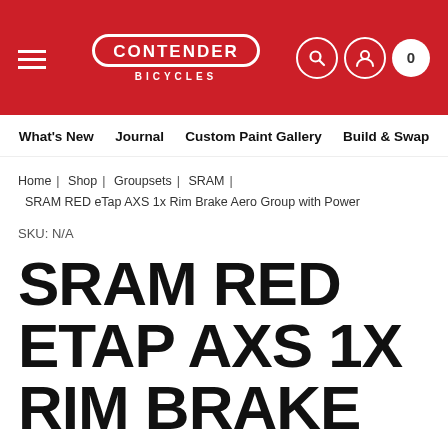[Figure (logo): Contender Bicycles logo on red header background with hamburger menu, search icon, user icon, and cart with 0 items]
What's New  Journal  Custom Paint Gallery  Build & Swap
Home | Shop | Groupsets | SRAM | SRAM RED eTap AXS 1x Rim Brake Aero Group with Power
SKU: N/A
SRAM RED ETAP AXS 1X RIM BRAKE AERO GROUP WITH POWER